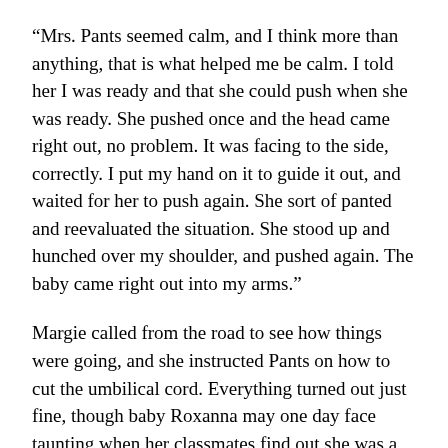“Mrs. Pants seemed calm, and I think more than anything, that is what helped me be calm. I told her I was ready and that she could push when she was ready. She pushed once and the head came right out, no problem. It was facing to the side, correctly. I put my hand on it to guide it out, and waited for her to push again. She sort of panted and reevaluated the situation. She stood up and hunched over my shoulder, and pushed again. The baby came right out into my arms.”
Margie called from the road to see how things were going, and she instructed Pants on how to cut the umbilical cord. Everything turned out just fine, though baby Roxanna may one day face taunting when her classmates find out she was a toilet baby. I’ve advised the Pantses to tell her that early, so she doesn’t have to hear it from someone else first. It would be especially cruel in her case, since her classmates would be her siblings, being home-schooled at all.